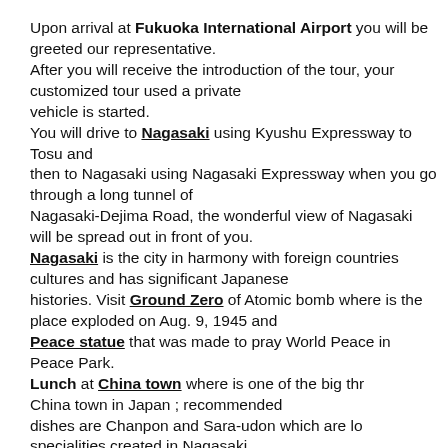Upon arrival at Fukuoka International Airport you will be greeted our representative. After you will receive the introduction of the tour, your customized tour used a private vehicle is started. You will drive to Nagasaki using Kyushu Expressway to Tosu and then to Nagasaki using Nagasaki Expressway when you go through a long tunnel of Nagasaki-Dejima Road, the wonderful view of Nagasaki will be spread out in front of you. Nagasaki is the city in harmony with foreign countries cultures and has significant Japanese histories. Visit Ground Zero of Atomic bomb where is the place exploded on Aug. 9, 1945 and Peace statue that was made to pray World Peace in Peace Park. Lunch at China town where is one of the big three China town in Japan ; recommended dishes are Chanpon and Sara-udon which are local specialities created in Nagasaki.